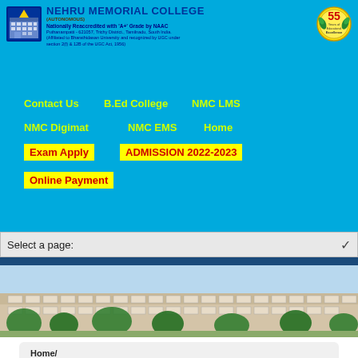[Figure (logo): Nehru Memorial College logo with building emblem]
NEHRU MEMORIAL COLLEGE
Nationally Reaccredited with 'A+' Grade by NAAC
Puthanampatti - 621057, Trichy District., Tamilnadu, South India.
(Affiliated to Bharathidasan University and recognized by UGC under section 2(f) & 12B of the UGC Act, 1956)
[Figure (logo): 55 Years of Educational Excellence badge]
Contact Us
B.Ed College
NMC LMS
NMC Digimat
NMC EMS
Home
Exam Apply
ADMISSION 2022-2023
Online Payment
Select a page:
[Figure (photo): Exterior photo of Nehru Memorial College building]
Home/
PG and Research Department of Physics